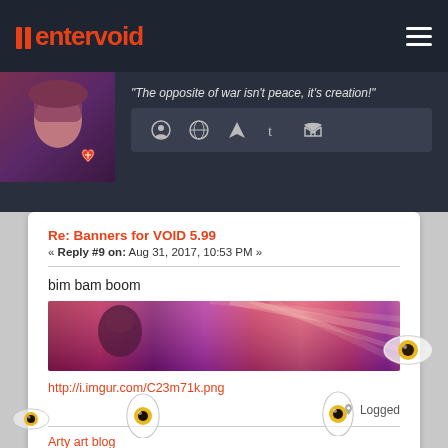entervoid
[Figure (screenshot): User profile strip with avatar, quote 'The opposite of war isn't peace, it's creation!' and social media icons]
Re: Banners for VOID 5.99
« Reply #9 on: Aug 31, 2017, 10:53 PM »
bim bam boom
[Figure (photo): Banner image with purple/pink/red gradient tones showing a figure]
http://i.imgur.com/C23m71k.png
Logged
Arty art blog
[Figure (illustration): Eye decorations at bottom of page]